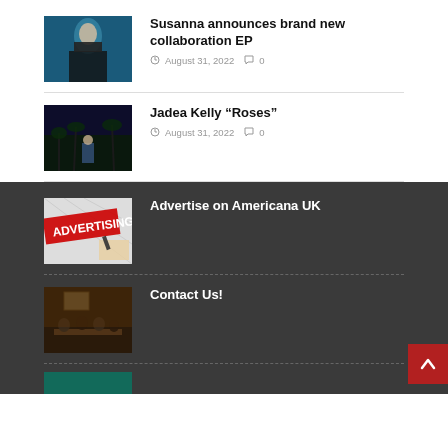Susanna announces brand new collaboration EP
August 31, 2022  0
Jadea Kelly “Roses”
August 31, 2022  0
Advertise on Americana UK
Contact Us!